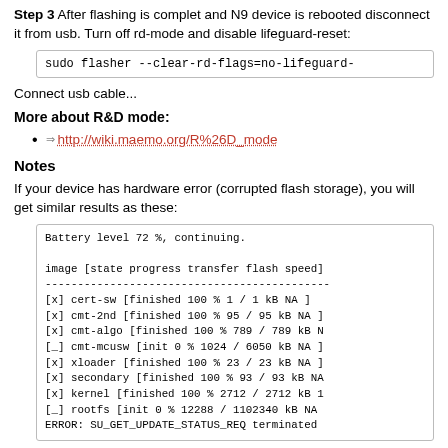Step 3 After flashing is complet and N9 device is rebooted disconnect it from usb. Turn off rd-mode and disable lifeguard-reset:
sudo flasher --clear-rd-flags=no-lifeguard-
Connect usb cable...
More about R&D mode:
http://wiki.maemo.org/R%26D_mode
Notes
If your device has hardware error (corrupted flash storage), you will get similar results as these:
Battery level 72 %, continuing.

image [state progress transfer flash speed]
--------------------------------------------
[x] cert-sw [finished 100 % 1 / 1 kB NA ]
[x] cmt-2nd [finished 100 % 95 / 95 kB NA ]
[x] cmt-algo [finished 100 % 789 / 789 kB N
[_] cmt-mcusw [init 0 % 1024 / 6050 kB NA ]
[x] xloader [finished 100 % 23 / 23 kB NA ]
[x] secondary [finished 100 % 93 / 93 kB NA
[x] kernel [finished 100 % 2712 / 2712 kB 1
[_] rootfs [init 0 % 12288 / 1102340 kB NA
ERROR: SU_GET_UPDATE_STATUS_REQ terminated